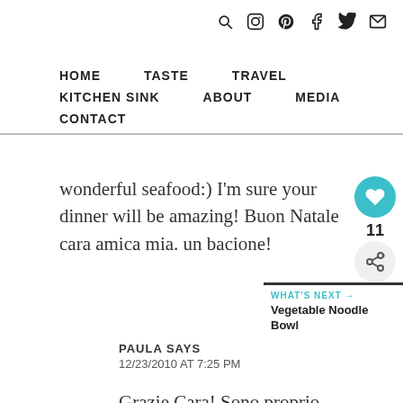Navigation icons: search, instagram, pinterest, facebook, twitter, email
HOME  TASTE  TRAVEL  KITCHEN SINK  ABOUT  MEDIA  CONTACT
wonderful seafood:) I'm sure your dinner will be amazing! Buon Natale cara amica mia. un bacione!
PAULA SAYS
12/23/2010 AT 7:25 PM
Grazie Cara! Sono proprio felice che ci siamo incontrati sta anno! A [image] a te e la tua famiglia! xoxo